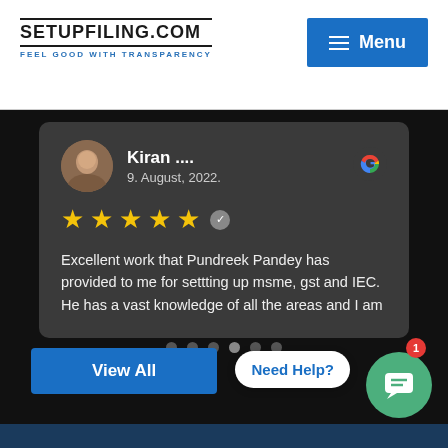SETUPFILING.COM — FEEL GOOD WITH TRANSPARENCY
[Figure (screenshot): Menu button (hamburger icon) in blue background with white text 'Menu']
[Figure (photo): Circular avatar photo of reviewer Kiran]
Kiran ....
9. August, 2022.
[Figure (logo): Google G logo in multi-color]
★★★★★
Excellent work that Pundreek Pandey has provided to me for settting up msme, gst and IEC. He has a vast knowledge of all the areas and I am
[Figure (other): Carousel dots navigation with 6 dots, 4th dot highlighted]
View All
Need Help?
[Figure (other): Green circle chat button with message icon and red badge showing 1]